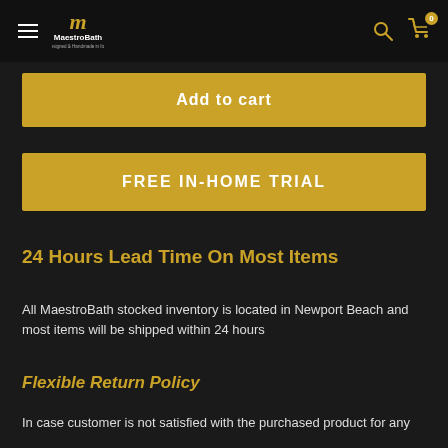MaestroBath — Designed & Handmade in Italy
Add to cart
FREE IN-HOME TRIAL
24 Hours Lead Time On Most Items
All MaestroBath stocked inventory is located in Newport Beach and most items will be shipped within 24 hours
Flexible Return Policy
In case customer is not satisfied with the purchased product for any